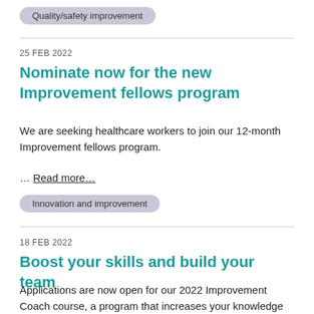Quality/safety improvement
25 FEB 2022
Nominate now for the new Improvement fellows program
We are seeking healthcare workers to join our 12-month Improvement fellows program.
… Read more…
Innovation and improvement
18 FEB 2022
Boost your skills and build your team
Applications are now open for our 2022 Improvement Coach course, a program that increases your knowledge